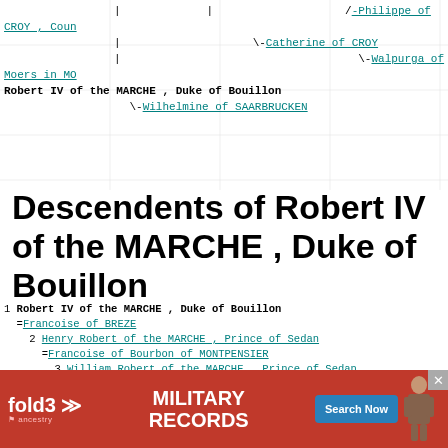| | /-Philippe of CROY , Coun
| \-Catherine of CROY
| \-Walpurga of Moers in MO
Robert IV of the MARCHE , Duke of Bouillon
 \-Wilhelmine of SAARBRUCKEN
Descendents of Robert IV of the MARCHE , Duke of Bouillon
1 Robert IV of the MARCHE , Duke of Bouillon
=Francoise of BREZE
2 Henry Robert of the MARCHE , Prince of Sedan
=Francoise of Bourbon of MONTPENSIER
3 William Robert of the MARCHE , Prince of Sedan
3 Charlotte of the MARCHE
=Henry de la Tour of BOUILLON , Duke of Sedan
3 Jean of the MARCHE
2 Diane of the MARCHE
=Jacques DE LA MARCHE , Duke of Nevers
=Henry of CLERMONT
=Jean of BABOU
2 Antoinette of the MARCHE
=H... of MONTMORENCY
2 Ch...
2 Gu...
[Figure (other): Advertisement banner for fold3 Military Records by Ancestry]